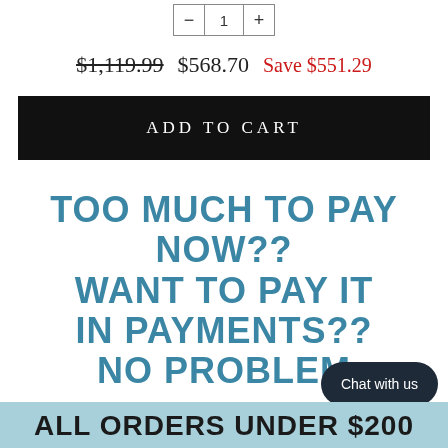[Figure (other): Quantity selector with minus, 1, and plus buttons in a bordered box]
$1,119.99  $568.70  Save $551.29
ADD TO CART
TOO MUCH TO PAY NOW?? WANT TO PAY IT IN PAYMENTS?? NO PROBLEM
Chat with us
ALL ORDERS UNDER $200